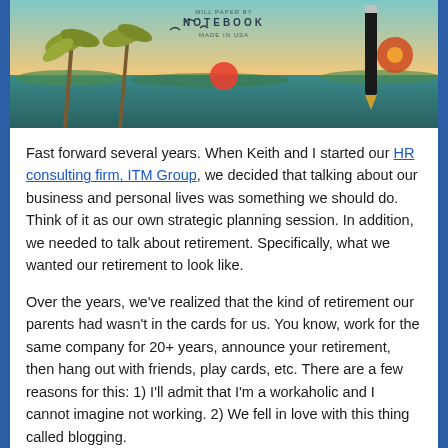[Figure (photo): A decorative notebook cover with a tropical beach scene featuring palm trees, birds, ocean waves, and a pen/pencil. Text on the cover reads 'MILL PAPER BY NOTEBOOK MADE IN USA'.]
Fast forward several years. When Keith and I started our HR consulting firm, ITM Group, we decided that talking about our business and personal lives was something we should do. Think of it as our own strategic planning session. In addition, we needed to talk about retirement. Specifically, what we wanted our retirement to look like.
Over the years, we've realized that the kind of retirement our parents had wasn't in the cards for us. You know, work for the same company for 20+ years, announce your retirement, then hang out with friends, play cards, etc. There are a few reasons for this: 1) I'll admit that I'm a workaholic and I cannot imagine not working. 2) We fell in love with this thing called blogging.